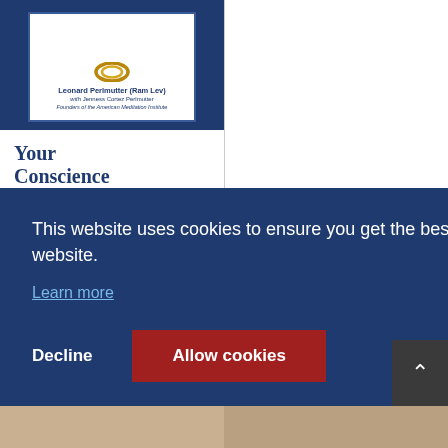[Figure (illustration): Book cover for 'Your Conscience' by Leonard Perlmutter (Ram Lev) with Jenness Cortez Perlmutter, Founders of the American Meditation Institute. Dark navy blue background with white inset panel showing author names and a decorative ring/knot graphic at top.]
Your Conscience
$14.95
Add to
Details
etails
This website uses cookies to ensure you get the best experience on our website.
Learn more
Decline
Allow cookies